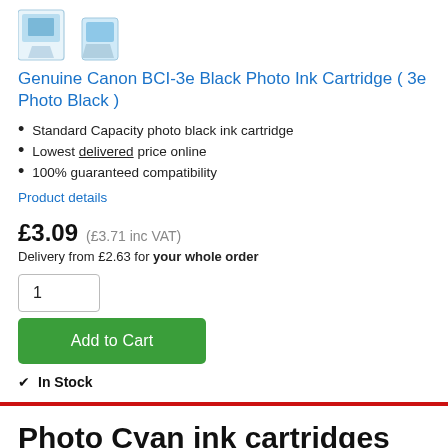[Figure (photo): Partial view of two ink cartridge product images (photo black) against white background]
Genuine Canon BCI-3e Black Photo Ink Cartridge ( 3e Photo Black )
Standard Capacity photo black ink cartridge
Lowest delivered price online
100% guaranteed compatibility
Product details
£3.09 (£3.71 inc VAT)
Delivery from £2.63 for your whole order
1
Add to Cart
✓ In Stock
Photo Cyan ink cartridges for the Smartbase MP600f printer